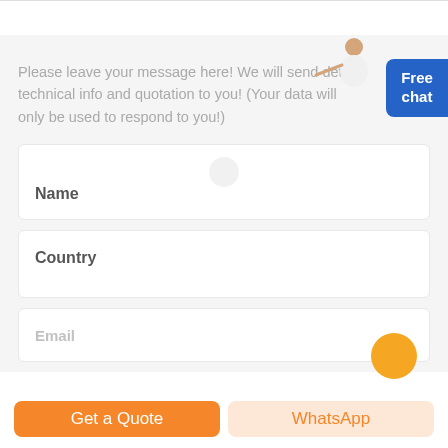Please leave your message here! We will send detail technical info and quotation to you! (Your data will only be used to respond to you!)
[Figure (illustration): Person (customer service representative) illustration with blue Free chat button badge on the right side]
Name
Country
Email
Get a Quote
WhatsApp